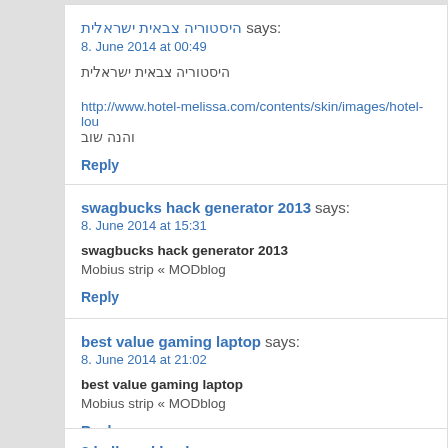היסטוריה צבאית ישראלית says:
8. June 2014 at 00:49
historia tzvaeet israelit
http://www.hotel-melissa.com/contents/skin/images/hotel-lou
והנה שוב
Reply
swagbucks hack generator 2013 says:
8. June 2014 at 15:31
swagbucks hack generator 2013
Mobius strip « MODblog
Reply
best value gaming laptop says:
8. June 2014 at 21:02
best value gaming laptop
Mobius strip « MODblog
Reply
8 ball pool hack money says: